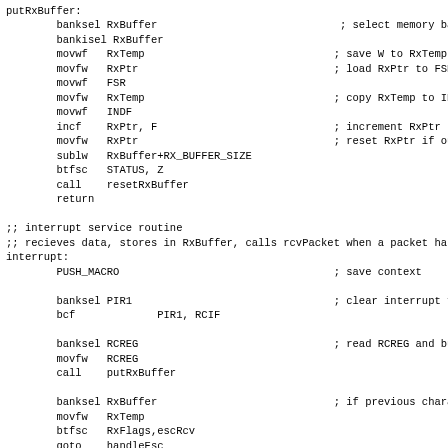putRxBuffer:
        banksel RxBuffer                             ; select memory bank
        bankisel RxBuffer
        movwf   RxTemp                              ; save W to RxTemp
        movfw   RxPtr                               ; load RxPtr to FSR
        movwf   FSR
        movfw   RxTemp                              ; copy RxTemp to INDF
        movwf   INDF
        incf    RxPtr, F                            ; increment RxPtr
        movfw   RxPtr                               ; reset RxPtr if out o
        sublw   RxBuffer+RX_BUFFER_SIZE
        btfsc   STATUS, Z
        call    resetRxBuffer
        return

;; interrupt service routine
;; recieves data, stores in RxBuffer, calls rcvPacket when a packet ha
interrupt:
        PUSH_MACRO                                  ; save context

        banksel PIR1                                ; clear interrupt flag
        bcf             PIR1, RCIF

        banksel RCREG                               ; read RCREG and buffe
        movfw   RCREG
        call    putRxBuffer

        banksel RxBuffer                            ; if previous characte
        movfw   RxTemp
        btfsc   RxFlags,escRcv
        goto    handleEsc

        btfsc   RxFlags,H                           ; if this is the heade
        goto    handleHdr

        xorlw   ESC_CHAR                            ; if current character
        btfsc   STATUS, Z
        bcf             RxFlags, escRcv